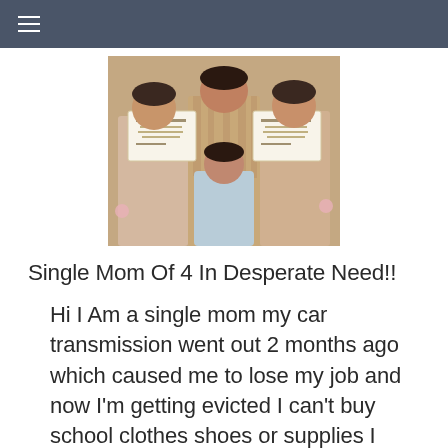≡
[Figure (photo): Photo of people (likely a mother and children) holding certificates/diplomas, wearing pink/blush outfits. A young child in a light blue shirt stands in front.]
Single Mom Of 4 In Desperate Need!!
Hi I Am a single mom my car transmission went out 2 months ago which caused me to lose my job and now I'm getting evicted I can't buy school clothes shoes or supplies I struggle to even get to [food!]